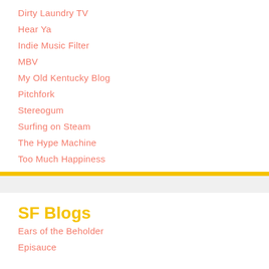Dirty Laundry TV
Hear Ya
Indie Music Filter
MBV
My Old Kentucky Blog
Pitchfork
Stereogum
Surfing on Steam
The Hype Machine
Too Much Happiness
SF Blogs
Ears of the Beholder
Episauce